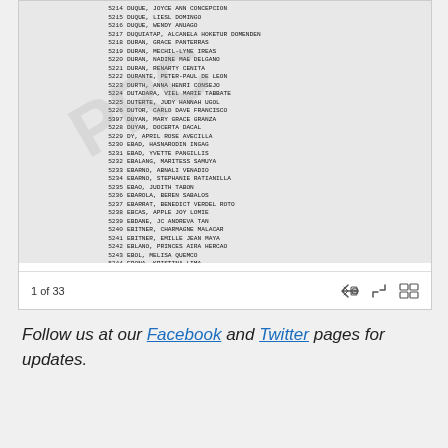[Figure (screenshot): A scanned PRC (Professional Regulation Commission) list of examinees showing numbered entries from 5214 to 5246 with names, partially obscured by a large 'PRC' watermark. Below the list is a teal 'View On Scribd' button.]
1 of 33
Follow us at our Facebook and Twitter pages for updates.